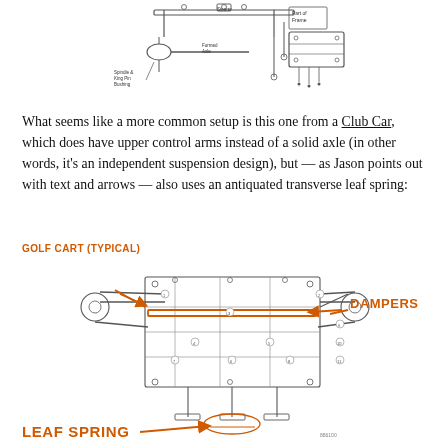[Figure (engineering-diagram): Technical exploded diagram of a golf cart front suspension assembly showing spindle, king pin bushing, formed axle, and part of frame components, black line art on white background]
What seems like a more common setup is this one from a Club Car, which does have upper control arms instead of a solid axle (in other words, it's an independent suspension design), but — as Jason points out with text and arrows — also uses an antiquated transverse leaf spring:
GOLF CART (TYPICAL)
[Figure (engineering-diagram): Detailed exploded parts diagram of a Club Car golf cart front suspension system with orange annotated arrows pointing to DAMPERS and LEAF SPRING components, black line art on white background with numbered parts]